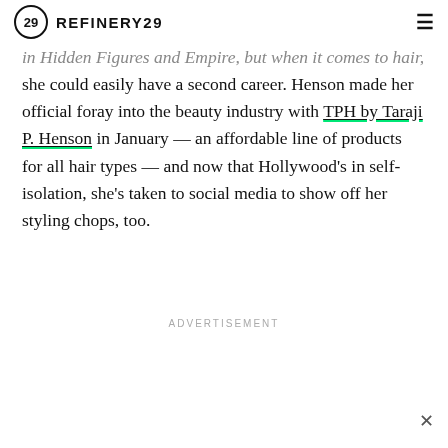REFINERY29
in Hidden Figures and Empire, but when it comes to hair, she could easily have a second career. Henson made her official foray into the beauty industry with TPH by Taraji P. Henson in January — an affordable line of products for all hair types — and now that Hollywood's in self-isolation, she's taken to social media to show off her styling chops, too.
ADVERTISEMENT